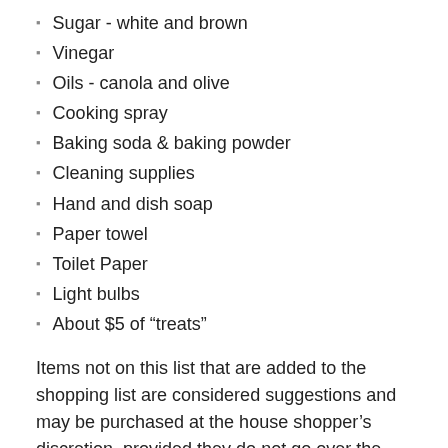Sugar - white and brown
Vinegar
Oils - canola and olive
Cooking spray
Baking soda & baking powder
Cleaning supplies
Hand and dish soap
Paper towel
Toilet Paper
Light bulbs
About $5 of “treats”
Items not on this list that are added to the shopping list are considered suggestions and may be purchased at the house shopper’s discretion, provided they do not go over the budget.
VIII. Parties
Any party hosted by Ferency must receive a ¾ approval at